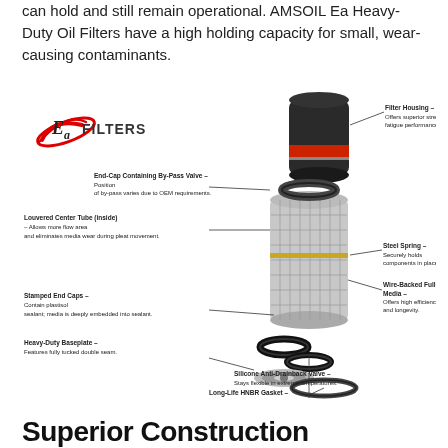can hold and still remain operational. AMSOIL Ea Heavy-Duty Oil Filters have a high holding capacity for small, wear-causing contaminants.
[Figure (engineering-diagram): Exploded diagram of AMSOIL Ea Heavy-Duty Oil Filter showing labeled components: Filter Housing (offers superior strength and pressure-fatigue performance), End-Cap Containing By-Pass Valve (Position of by-pass varies due to OEM requirements), Louvered Center Tube inside (Allows more flow area and eliminates media wear during pleat movement), Stamped End Caps (Contain plastisol sealant; media is deeply embedded into sealant), Heavy-Duty Baseplate (Features fully tucked double seam), Steel Spring (Securely holds components in place), Wire-Backed Full Synthetic Media (Offers high efficiency and longevity), Silicone Anti-Drainback Valve (Stays flexible in extreme temperatures), Long-Life HNBR Gasket (Stays flexible and tightly sealed). Ea Filters logo shown at top left.]
Superior Construction